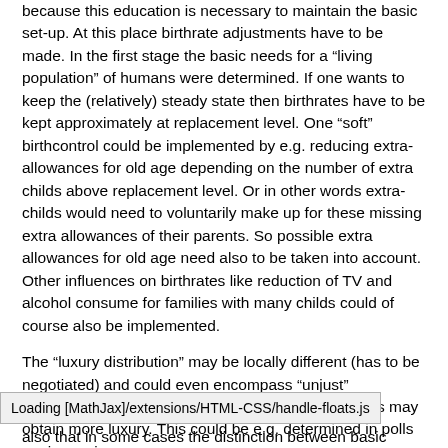because this education is necessary to maintain the basic set-up. At this place birthrate adjustments have to be made. In the first stage the basic needs for a "living population" of humans were determined. If one wants to keep the (relatively) steady state then birthrates have to be kept approximately at replacement level. One "soft" birthcontrol could be implemented by e.g. reducing extra-allowances for old age depending on the number of extra childs above replacement level. Or in other words extra-childs would need to voluntarily make up for these missing extra allowances of their parents. So possible extra allowances for old age need also to be taken into account. Other influences on birthrates like reduction of TV and alcohol consume for families with many childs could of course also be implemented.
The "luxury distribution" may be locally different (has to be negotiated) and could even encompass "unjust" distribution, like that some local people/organisations may obtain more luxury. This could be e.g. determined in polls or via gaming.
Loading [MathJax]/extensions/HTML-CSS/handle-floats.js
also that in some cases the distinction between basic